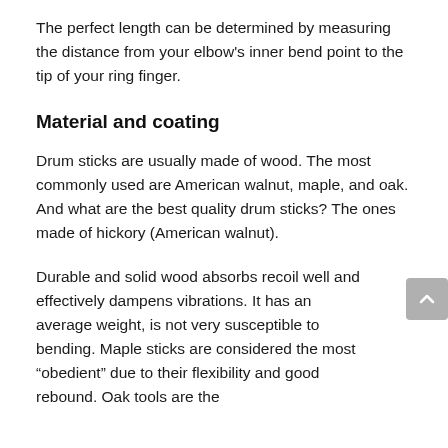The perfect length can be determined by measuring the distance from your elbow's inner bend point to the tip of your ring finger.
Material and coating
Drum sticks are usually made of wood. The most commonly used are American walnut, maple, and oak. And what are the best quality drum sticks? The ones made of hickory (American walnut).
Durable and solid wood absorbs recoil well and effectively dampens vibrations. It has an average weight, is not very susceptible to bending. Maple sticks are considered the most “obedient” due to their flexibility and good rebound. Oak tools are the